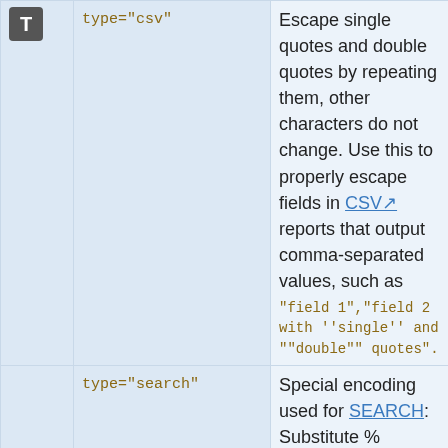| [icon T] | type="csv" | Escape single quotes and double quotes by repeating them, other characters do not change. Use this to properly escape fields in CSV reports that output comma-separated values, such as "field 1","field 2 with ''single'' and ""double"" quotes". | type="url" |
|  | type="search" | Special encoding used for SEARCH: Substitute % characters into non-printable characters, so that TWikiVariables are no longer expanded. Also escapes quotes | type="url" |